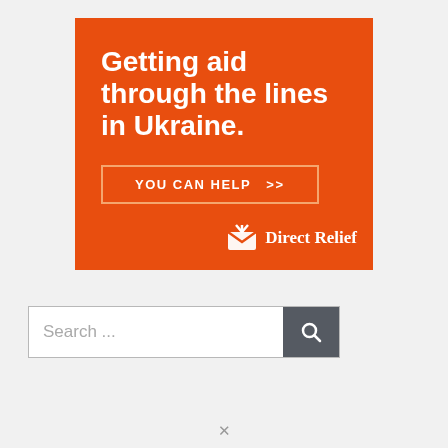[Figure (infographic): Orange Direct Relief advertisement banner. Large white bold text reads 'Getting aid through the lines in Ukraine.' Below is a button outline with text 'YOU CAN HELP >>'. Bottom right shows the Direct Relief logo (white icon and white text).]
Search ...